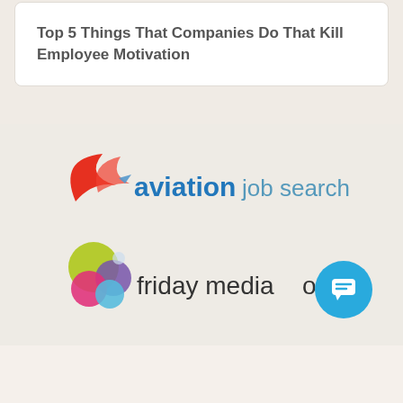Top 5 Things That Companies Do That Kill Employee Motivation
[Figure (logo): Aviation Job Search logo with red wing swoosh and blue/grey text]
[Figure (logo): Friday Media Group logo with colourful overlapping circles and dark text]